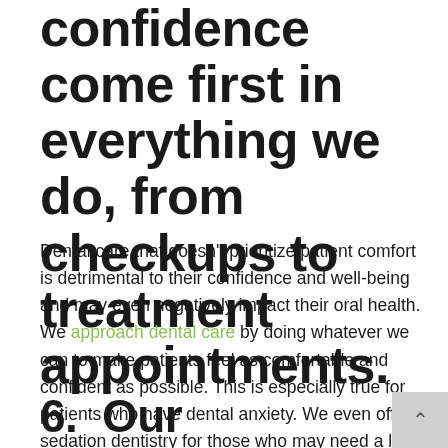confidence come first in everything we do, from checkups to treatment appointments.
Dental care that doesn't prioritize patient comfort is detrimental to their confidence and well-being and may even negatively impact their oral health. We approach dental care by doing whatever we can to make patients feel as comfortable and confident as possible. This is especially true for patients who have dental anxiety. We even offer sedation dentistry for those who may need a little help relaxing.
6.  Our patients' routine dental cleanings are a